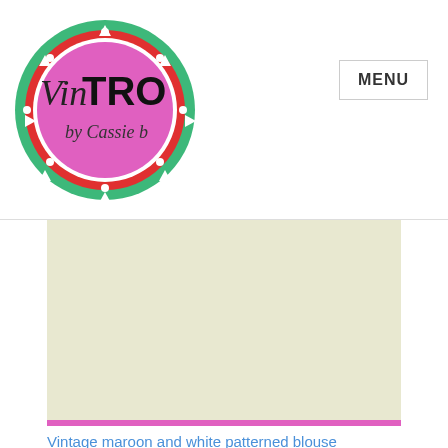[Figure (logo): VinTRO by Cassie B logo — colorful circular mandala-style logo with pink, red, green, and white decorations. Pink circle center with 'Vin' in script and 'TRO' in bold black, 'by Cassie b' in script below.]
MENU
[Figure (photo): Product image area — light cream/beige background placeholder for vintage maroon and white patterned blouse photo]
Vintage maroon and white patterned blouse
Size: 36 W94 B100 L75
R 130
Add to cart